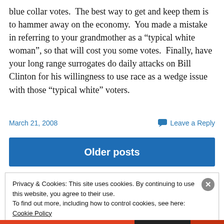blue collar votes.  The best way to get and keep them is to hammer away on the economy.  You made a mistake in referring to your grandmother as a “typical white woman”, so that will cost you some votes.  Finally, have your long range surrogates do daily attacks on Bill Clinton for his willingness to use race as a wedge issue with those “typical white” voters.
March 21, 2008
Leave a Reply
Older posts
Privacy & Cookies: This site uses cookies. By continuing to use this website, you agree to their use.
To find out more, including how to control cookies, see here: Cookie Policy
Close and accept